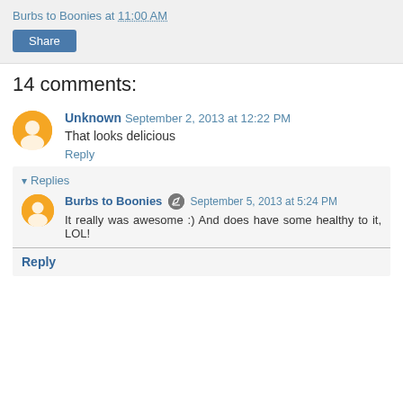Burbs to Boonies at 11:00 AM
[Figure (other): Share button]
14 comments:
Unknown September 2, 2013 at 12:22 PM
That looks delicious
Reply
Replies
Burbs to Boonies September 5, 2013 at 5:24 PM
It really was awesome :) And does have some healthy to it, LOL!
Reply